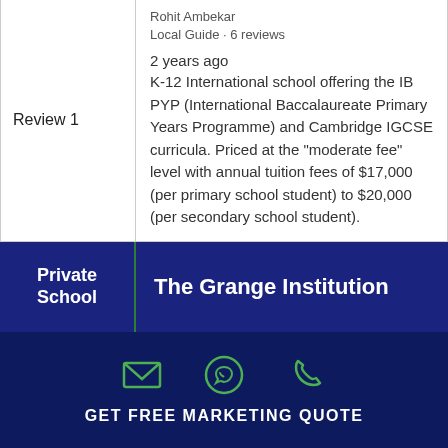|  |  |
| --- | --- |
| Review 1 | Rohit Ambekar
Local Guide · 6 reviews

2 years ago
K-12 International school offering the IB PYP (International Baccalaureate Primary Years Programme) and Cambridge IGCSE curricula. Priced at the "moderate fee" level with annual tuition fees of $17,000 (per primary school student) to $20,000 (per secondary school student). |
|  |  |
| --- | --- |
| Private School | The Grange Institution |
[Figure (infographic): Footer with email, WhatsApp, and phone icons in green on dark navy background, with text GET FREE MARKETING QUOTE]
GET FREE MARKETING QUOTE